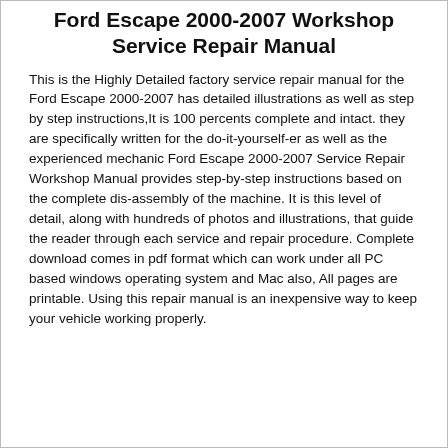Ford Escape 2000-2007 Workshop Service Repair Manual
This is the Highly Detailed factory service repair manual for the Ford Escape 2000-2007 has detailed illustrations as well as step by step instructions,It is 100 percents complete and intact. they are specifically written for the do-it-yourself-er as well as the experienced mechanic Ford Escape 2000-2007 Service Repair Workshop Manual provides step-by-step instructions based on the complete dis-assembly of the machine. It is this level of detail, along with hundreds of photos and illustrations, that guide the reader through each service and repair procedure. Complete download comes in pdf format which can work under all PC based windows operating system and Mac also, All pages are printable. Using this repair manual is an inexpensive way to keep your vehicle working properly.